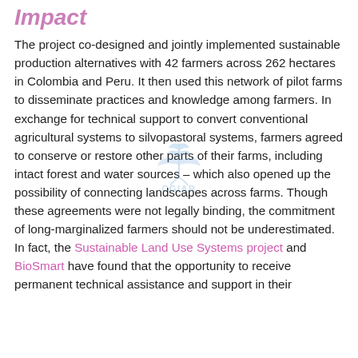Impact
The project co-designed and jointly implemented sustainable production alternatives with 42 farmers across 262 hectares in Colombia and Peru. It then used this network of pilot farms to disseminate practices and knowledge among farmers. In exchange for technical support to convert conventional agricultural systems to silvopastoral systems, farmers agreed to conserve or restore other parts of their farms, including intact forest and water sources – which also opened up the possibility of connecting landscapes across farms. Though these agreements were not legally binding, the commitment of long-marginalized farmers should not be underestimated. In fact, the Sustainable Land Use Systems project and BioSmart have found that the opportunity to receive permanent technical assistance and support in their
[Figure (logo): CGIAR logo watermark centered on the page — a stylized wheat/leaf emblem above the text CGIAR in blue]